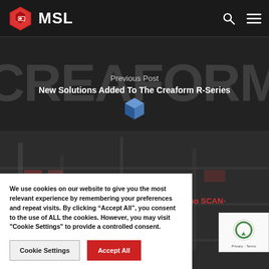[Figure (logo): MSL logo with red hexagon icon and white MSL text, search icon and hamburger menu icon on the right]
Previous Post
New Solutions Added To The Creaform R-Series
[Figure (photo): Industrial/manufacturing workshop background photo with dark overlay, robotic equipment visible]
Next Post
How Can You Manufacture With The Robo SCAN-R
We use cookies on our website to give you the most relevant experience by remembering your preferences and repeat visits. By clicking “Accept All”, you consent to the use of ALL the cookies. However, you may visit "Cookie Settings" to provide a controlled consent.
Cookie Settings
Accept All
[Figure (other): reCAPTCHA widget with Privacy - Terms text]